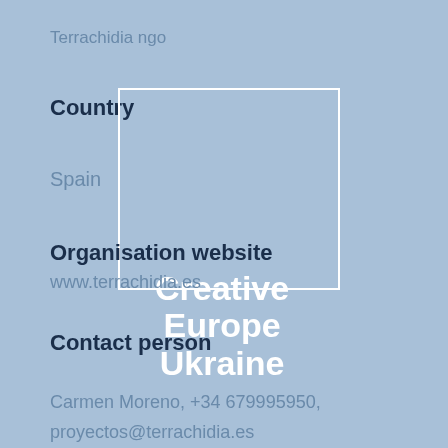Terrachidia ngo
Country
Spain
[Figure (logo): EU flag — circle of 12 white stars on light blue background inside a white-bordered rectangle, with 'Creative Europe Ukraine' text overlay]
Organisation website
www.terrachidia.es
Contact person
Carmen Moreno, +34 679995950,
proyectos@terrachidia.es